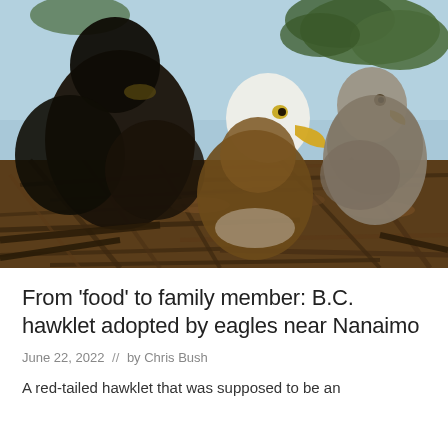[Figure (photo): Photograph of birds in a large nest made of sticks and branches. A bald eagle with white head and yellow beak is visible in the center-right, a dark juvenile eagle is on the left, and a lighter-colored hawklet or juvenile raptor is on the right. Pine tree branches are visible in the upper background against a blue sky.]
From 'food' to family member: B.C. hawklet adopted by eagles near Nanaimo
June 22, 2022  //  by Chris Bush
A red-tailed hawklet that was supposed to be an